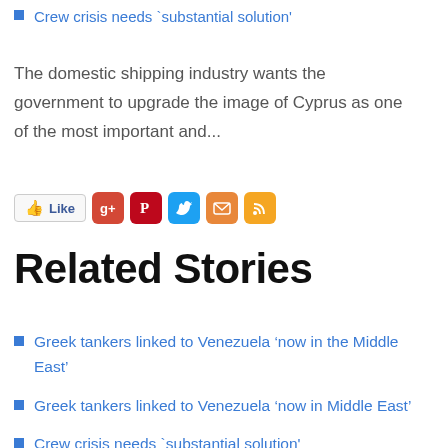Crew crisis needs `substantial solution'
The domestic shipping industry wants the government to upgrade the image of Cyprus as one of the most important and...
[Figure (other): Social sharing buttons: Facebook Like, Google+, Pinterest, Twitter, email, RSS feed]
Related Stories
Greek tankers linked to Venezuela ‘now in the Middle East’
Greek tankers linked to Venezuela ‘now in Middle East’
Crew crisis needs `substantial solution'